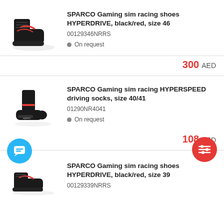[Figure (photo): Black and red SPARCO HYPERDRIVE sim racing shoe, high-top style with red logo details]
SPARCO Gaming sim racing shoes HYPERDRIVE, black/red, size 46
00129346NRRS
On request
300 AED
[Figure (photo): Black SPARCO HYPERSPEED driving socks with red stripe detail]
SPARCO Gaming sim racing HYPERSPEED driving socks, size 40/41
01290NR4041
On request
108 AED
[Figure (photo): Black and red SPARCO HYPERDRIVE sim racing shoe, size 39]
SPARCO Gaming sim racing shoes HYPERDRIVE, black/red, size 39
00129339NRRS